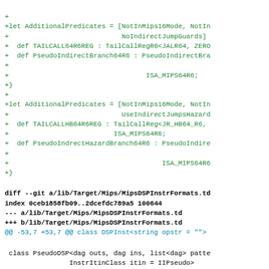Code diff showing changes to MIPS target files including MipsDSPInstrFormats.td with additions and removals related to TailCallReg, PseudoIndirectBranch, and MipsPseudo predicates.